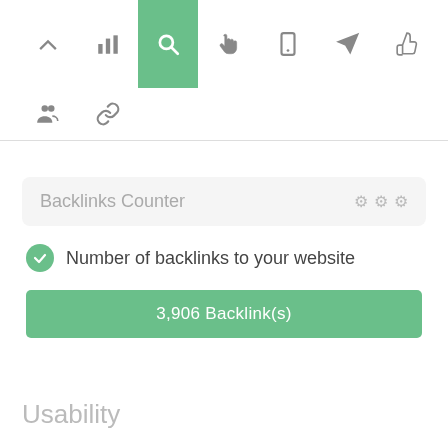[Figure (screenshot): Toolbar row with navigation icons: chevron-up, bar-chart, search (active/highlighted green), hand pointer, mobile device, paper plane, thumbs up]
[Figure (screenshot): Second toolbar row with people/group icon and chain/link icon]
Backlinks Counter
Number of backlinks to your website
3,906 Backlink(s)
Usability